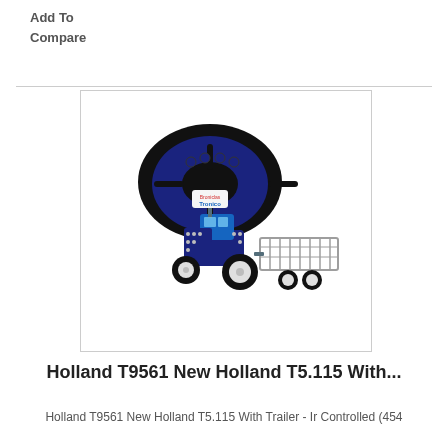Add To Compare
[Figure (photo): A blue New Holland T5.115 toy tractor with trailer (metal construction kit), shown with an IR remote control. The tractor is blue with silver metal parts and black wheels. The remote control is black and blue with a Tronico logo.]
Holland T9561 New Holland T5.115 With...
Holland T9561 New Holland T5.115 With Trailer - Ir Controlled (454